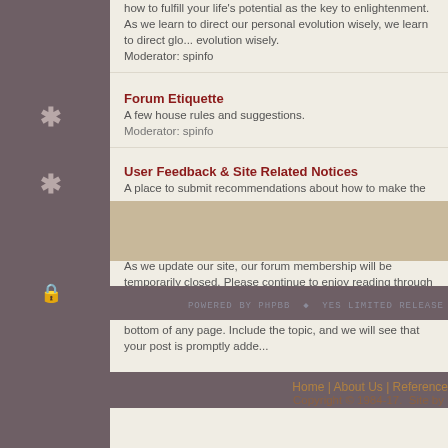how to fulfill your life's potential as the key to enlightenment. As we learn to direct our personal evolution wisely, we learn to direct global evolution wisely.
Moderator: spinfo
Forum Etiquette
A few house rules and suggestions.
Moderator: spinfo
User Feedback & Site Related Notices
A place to submit recommendations about how to make the forum a better place for everyone.
Please take notice...
As we update our site, our forum membership will be temporarily closed. Please continue to enjoy reading through the current strands. Meanwhile, if you would like to post a comment or ask a question, just click the "email us" link at the bottom of any page. Include the topic, and we will see that your post is promptly added
POWERED BY PHPBB © YES LIMITED RELEASE
Home | About Us | Reference
Copyright © 1984-17.  Site by